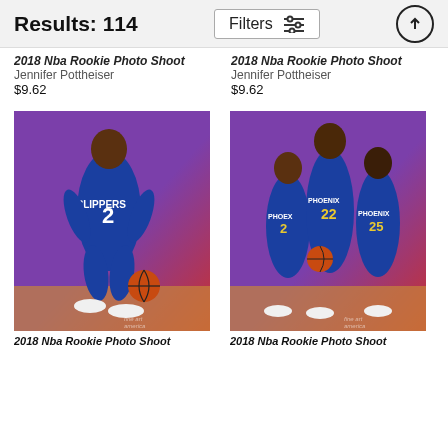Results: 114
Filters
2018 Nba Rookie Photo Shoot
Jennifer Pottheiser
$9.62
2018 Nba Rookie Photo Shoot
Jennifer Pottheiser
$9.62
[Figure (photo): NBA Clippers player wearing #2 blue jersey posing with basketball on purple and red background]
[Figure (photo): Three Phoenix Suns players wearing purple jerseys (#2, #22, #25) posing together on purple and red background]
2018 Nba Rookie Photo Shoot
2018 Nba Rookie Photo Shoot